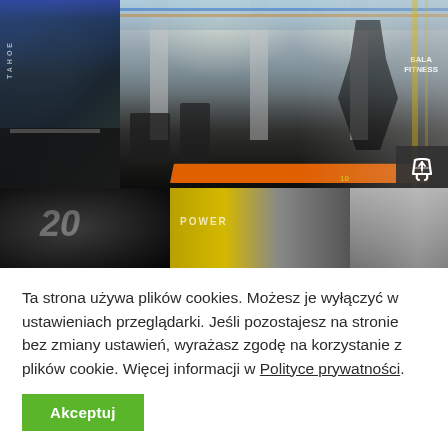[Figure (photo): Collage of gym/fitness club interior photos. Top section shows a large open gym floor with equipment, orange running track, columns, and a fitness room sign. Bottom strip shows close-ups of gym equipment including a weight plate marked '20' and a yellow bar labeled 'POWER'.]
Ta strona używa plików cookies. Możesz je wyłączyć w ustawieniach przeglądarki. Jeśli pozostajesz na stronie bez zmiany ustawień, wyrażasz zgodę na korzystanie z plików cookie. Więcej informacji w Polityce prywatności.
Akceptuj